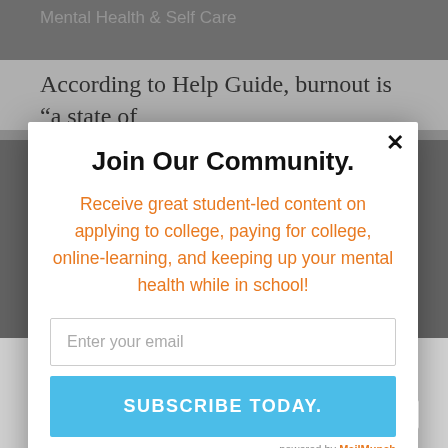Mental Health & Self Care
According to Help Guide, burnout is “a state of
[Figure (screenshot): A modal popup dialog box titled 'Join Our Community.' with an orange subtitle, email input field, and a blue 'SUBSCRIBE TODAY.' button, overlaid on a dimmed article page. Includes a close (x) button, powered by MailMunch footer, and a language selector showing 'English'.]
vulnerable. On top of this, workplaces and academia are still expecting the same, if not, better results from us whic